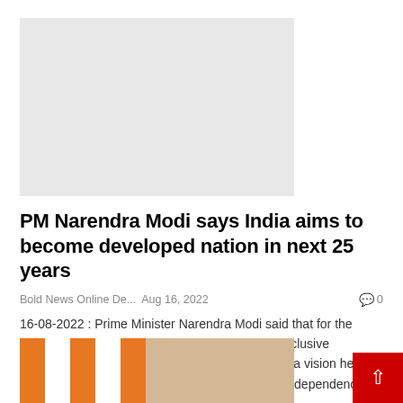[Figure (photo): Gray placeholder image for article]
PM Narendra Modi says India aims to become developed nation in next 25 years
Bold News Online De...   Aug 16, 2022   0
16-08-2022 : Prime Minister Narendra Modi said that for the growth of New India, there is a need to ensure inclusive development across the nation. He said this was a vision held dear by Mahatma Gandhi. Addressing the 76th Independence Day...
[Figure (photo): Photo of PM Narendra Modi with Indian flags in background]